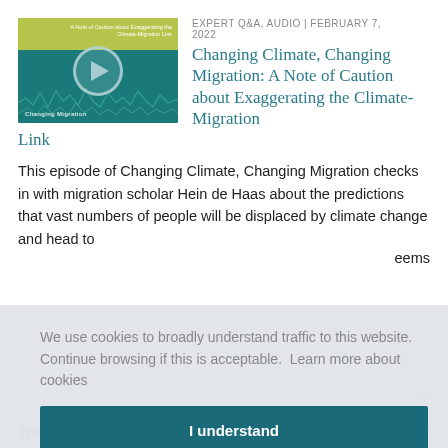[Figure (screenshot): Podcast episode thumbnail for 'Changing Climate, Changing Migration' with a teal background, yellow-green top bar, waveform, and play button circle]
EXPERT Q&A, AUDIO | FEBRUARY 7, 2022
Changing Climate, Changing Migration: A Note of Caution about Exaggerating the Climate-Migration Link
This episode of Changing Climate, Changing Migration checks in with migration scholar Hein de Haas about the predictions that vast numbers of people will be displaced by climate change and head to
eems
We use cookies to broadly understand traffic to this website. Continue browsing if this is acceptable.  Learn more about cookies
I understand
22
n
This MPI discussion with leading experts, advocates, and a top